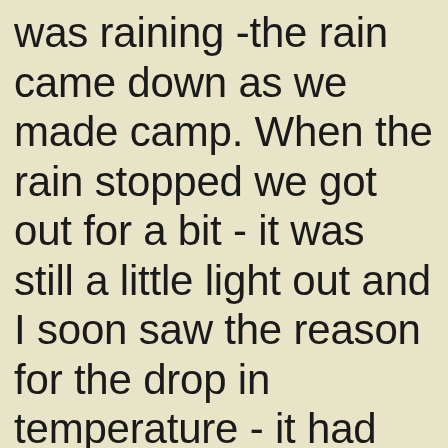was raining -the rain came down as we made camp. When the rain stopped we got out for a bit - it was still a little light out and I soon saw the reason for the drop in temperature - it had snowed - not right at the campsite, but in the hills right there on the surrounding li